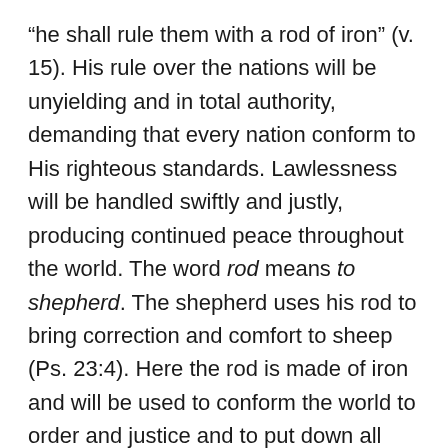“he shall rule them with a rod of iron” (v. 15). His rule over the nations will be unyielding and in total authority, demanding that every nation conform to His righteous standards. Lawlessness will be handled swiftly and justly, producing continued peace throughout the world. The word rod means to shepherd. The shepherd uses his rod to bring correction and comfort to sheep (Ps. 23:4). Here the rod is made of iron and will be used to conform the world to order and justice and to put down all manifestation of wickedness. Christ is the “good shepherd” (Jn. 10:11), the “great Shepherd” (Heb. 13:20), and the “chief Shepherd” (1 Pet. 5:4) who will rule the world